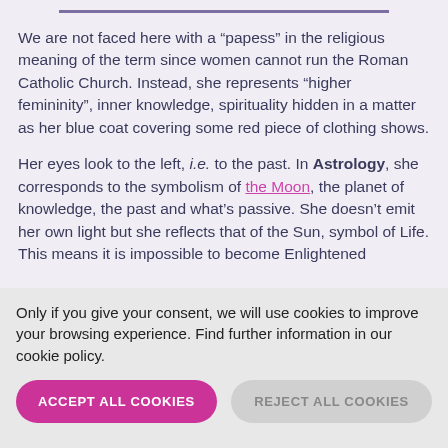We are not faced here with a “papess” in the religious meaning of the term since women cannot run the Roman Catholic Church. Instead, she represents “higher femininity”, inner knowledge, spirituality hidden in a matter as her blue coat covering some red piece of clothing shows.
Her eyes look to the left, i.e. to the past. In Astrology, she corresponds to the symbolism of the Moon, the planet of knowledge, the past and what’s passive. She doesn’t emit her own light but she reflects that of the Sun, symbol of Life. This means it is impossible to become Enlightened
Only if you give your consent, we will use cookies to improve your browsing experience. Find further information in our cookie policy.